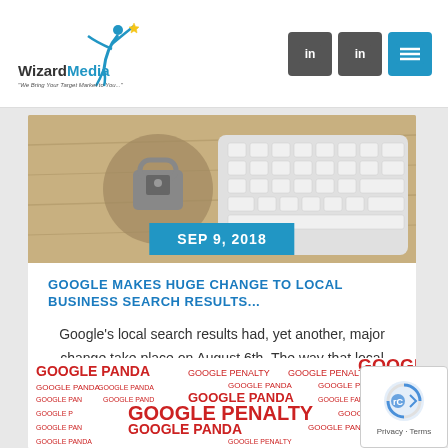WizardMedia - We Bring Your Target Market to You...
[Figure (screenshot): Blog article card with keyboard/padlock image and date badge SEP 9, 2018]
GOOGLE MAKES HUGE CHANGE TO LOCAL BUSINESS SEARCH RESULTS...
Google's local search results had, yet another, major change take place on August 6th. The way that local businesses used to appe...
[Figure (screenshot): Second blog card showing Google Panda and Google Penalty text collage image]